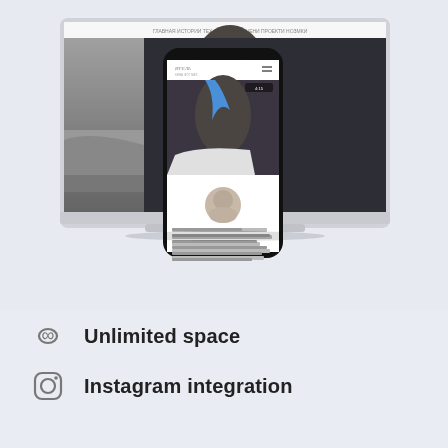[Figure (screenshot): Mockup showing a laptop and smartphone displaying a photography blog website with Cyrillic text navigation. The laptop shows a large photo of two people with blue/dark hair wrapped in white sheets. The phone screen shows a mobile version of the same site with a circular profile photo and Cyrillic body text about photographers from Nizhny Novgorod.]
∞  Unlimited space
Instagram integration